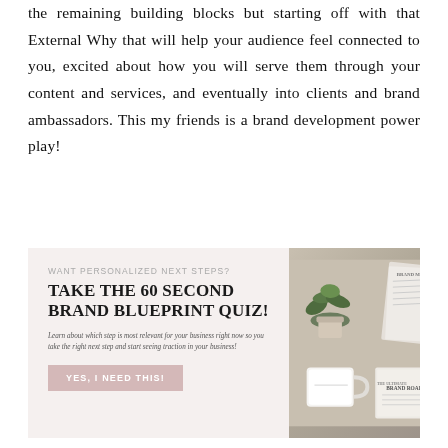the remaining building blocks but starting off with that External Why that will help your audience feel connected to you, excited about how you will serve them through your content and services, and eventually into clients and brand ambassadors. This my friends is a brand development power play!
[Figure (infographic): Promotional banner with light pink/beige background. Left side contains text: 'WANT PERSONALIZED NEXT STEPS?' in small gray caps, 'TAKE THE 60 SECOND BRAND BLUEPRINT QUIZ!' in large bold uppercase serif, italic description text 'Learn about which step is most relevant for your business right now so you take the right next step and start seeing traction in your business!', and a dusty pink button 'YES, I NEED THIS!'. Right side shows a lifestyle photo of a plant, white mug, and Brand Roadmap papers/documents.]